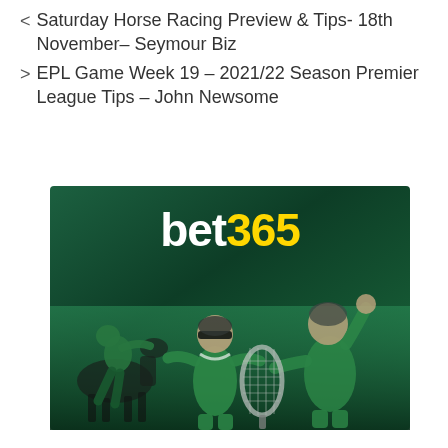< Saturday Horse Racing Preview & Tips- 18th November– Seymour Biz
> EPL Game Week 19 – 2021/22 Season Premier League Tips – John Newsome
[Figure (logo): bet365 promotional banner with logo (white 'bet' and yellow '365') and three athletes (jockey, tennis player with headband, tennis player with racket) in green tones on dark green background]